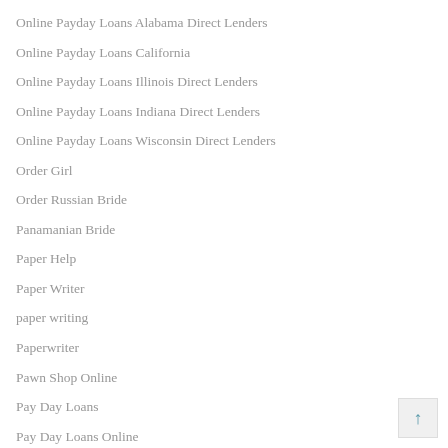Online Payday Loans Alabama Direct Lenders
Online Payday Loans California
Online Payday Loans Illinois Direct Lenders
Online Payday Loans Indiana Direct Lenders
Online Payday Loans Wisconsin Direct Lenders
Order Girl
Order Russian Bride
Panamanian Bride
Paper Help
Paper Writer
paper writing
Paperwriter
Pawn Shop Online
Pay Day Loans
Pay Day Loans Online